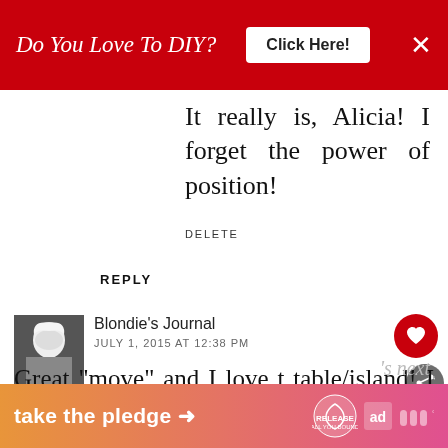Do You Love To DIY? Click Here!
It really is, Alicia! I forget the power of position!
DELETE
REPLY
Blondie's Journal
JULY 1, 2015 AT 12:38 PM
Great "move" and I love t table/island! I get ideas at night but actually just jot them dow could say I moved things around a lot but my house is so tiny it's not
take the pledge →